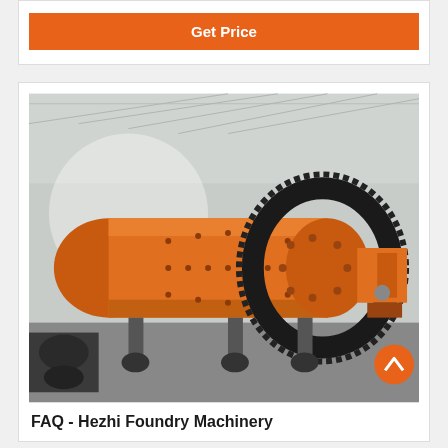Get Price
[Figure (photo): Large orange industrial ball mill machine with black gear ring, photographed inside a factory/warehouse setting. The cylindrical mill body is orange with bolt patterns visible, and a large black spur gear wraps around one end. Orange mechanical drive components are visible on the right side.]
FAQ - Hezhi Foundry Machinery